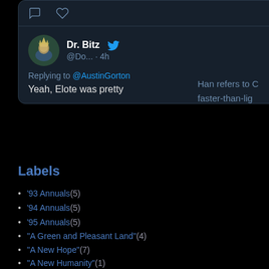[Figure (screenshot): Twitter/X tweet card showing Dr. Bitz (@Do...) replying to @AustinGorton, 4h ago, saying 'Yeah, Elote was pretty'. Dark mode UI with avatar of a video game character.]
Han refers to C faster-than-lig
Labels
'93 Annuals (5)
'94 Annuals (5)
'95 Annuals (5)
"A Green and Pleasant Land" (4)
"A New Hope" (7)
"A New Humanity" (1)
"A Skinning of Souls" (3)
"Acts of Vengeance" (18)
"Age of Apocalypse" (40)
"Asgardian Wars II" (5)